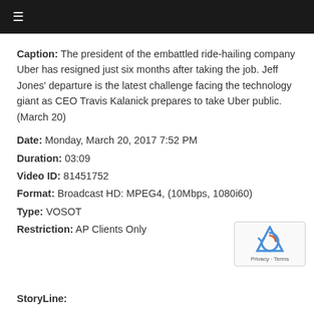≡
Caption: The president of the embattled ride-hailing company Uber has resigned just six months after taking the job. Jeff Jones' departure is the latest challenge facing the technology giant as CEO Travis Kalanick prepares to take Uber public. (March 20)
Date: Monday, March 20, 2017 7:52 PM
Duration: 03:09
Video ID: 81451752
Format: Broadcast HD: MPEG4, (10Mbps, 1080i60)
Type: VOSOT
Restriction: AP Clients Only
StoryLine: